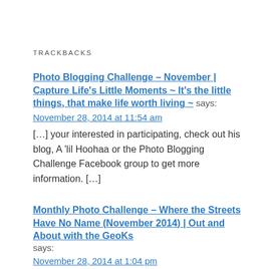TRACKBACKS
Photo Blogging Challenge – November | Capture Life's Little Moments ~ It's the little things, that make life worth living ~ says:
November 28, 2014 at 11:54 am
[…] your interested in participating,  check out his blog,  A 'lil Hoohaa or the Photo Blogging Challenge Facebook group to get more information. […]
Monthly Photo Challenge – Where the Streets Have No Name (November 2014) | Out and About with the GeoKs says:
November 28, 2014 at 1:04 pm
[…] else came up with for this month's theme. If you have another few minutes, head on over to A 'lil